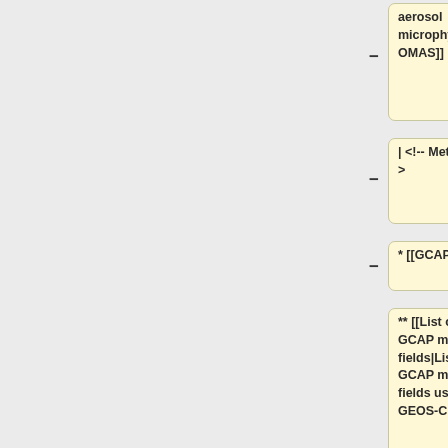[Figure (screenshot): Diff/comparison view of wiki markup showing items related to aerosol microphysics TOMAS, Met fields comment, GCAP, List of GCAP met fields, Overview of GMAO met data products, and Version history of GMAO met data products. Each item has a yellow-highlighted left box with minus sign and a blue right box with plus sign.]